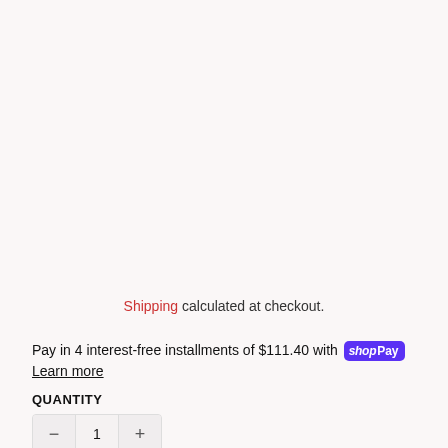Shipping calculated at checkout.
Pay in 4 interest-free installments of $111.40 with shop Pay
Learn more
QUANTITY
- 1 +